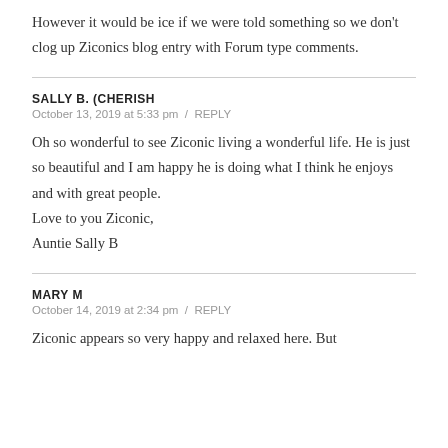However it would be ice if we were told something so we don't clog up Ziconics blog entry with Forum type comments.
SALLY B. (CHERISH
October 13, 2019 at 5:33 pm / REPLY
Oh so wonderful to see Ziconic living a wonderful life. He is just so beautiful and I am happy he is doing what I think he enjoys and with great people.
Love to you Ziconic,
Auntie Sally B
MARY M
October 14, 2019 at 2:34 pm / REPLY
Ziconic appears so very happy and relaxed here. But